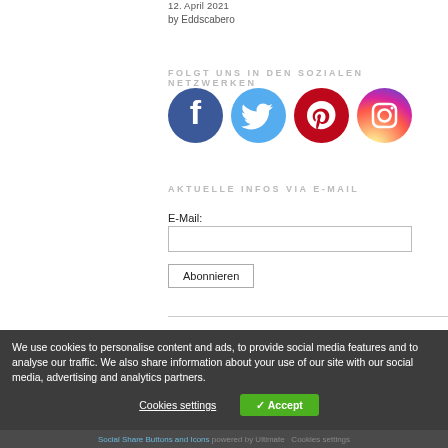12. April 2021
by Eddscabero
FOLGT UNS IN DEN SOZIALEN NETZWERKEN
[Figure (illustration): Four social media icons: Facebook (blue), Twitter (light blue), Pinterest (red), Instagram (orange-red)]
AKTUELLE INFOS VIA E-MAIL
E-Mail:
Abonnieren
We use cookies to personalise content and ads, to provide social media features and to analyse our traffic. We also share information about your use of our site with our social media, advertising and analytics partners.
Cookies settings
✓ Accept
Social Share Buttons and Icons powered by Ultimate   Cookies settings